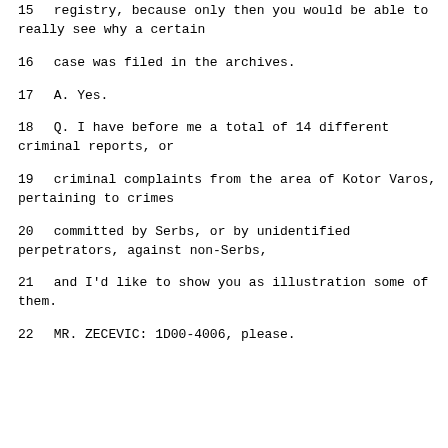15     registry, because only then you would be able to really see why a certain
16     case was filed in the archives.
17          A.   Yes.
18          Q.   I have before me a total of 14 different criminal reports, or
19      criminal complaints from the area of Kotor Varos, pertaining to crimes
20      committed by Serbs, or by unidentified perpetrators, against non-Serbs,
21      and I'd like to show you as illustration some of them.
22               MR. ZECEVIC:  1D00-4006, please.